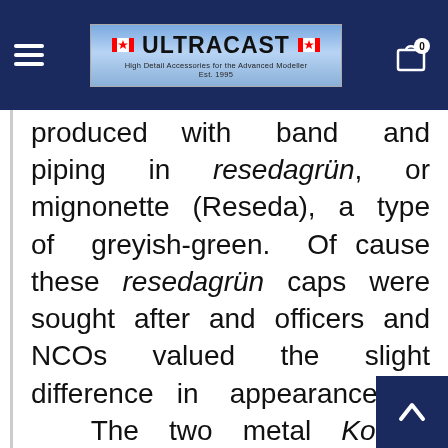ULTRACAST — High Detail Accessories for the Advanced Modeller
produced with band and piping in resedagrün, or mignonette (Reseda), a type of greyish-green. Of cause these resedagrün caps were sought after and officers and NCOs valued the slight difference in appearance. The two metal Kokard badges at the front were –